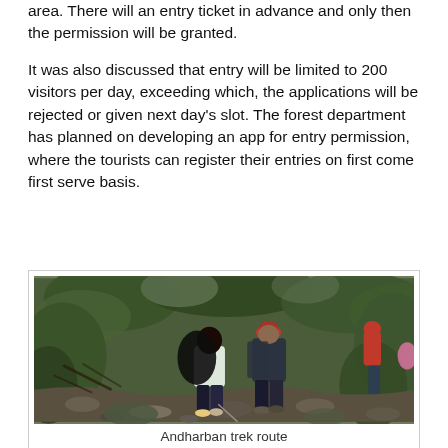area. There will an entry ticket in advance and only then the permission will be granted.
It was also discussed that entry will be limited to 200 visitors per day, exceeding which, the applications will be rejected or given next day's slot. The forest department has planned on developing an app for entry permission, where the tourists can register their entries on first come first serve basis.
[Figure (photo): Two hikers walking along a rocky forest trail through dense green vegetation, one wearing a white jacket and the other in dark clothing with a red cap. Forest trek path with rocks and trees.]
Andharban trek route